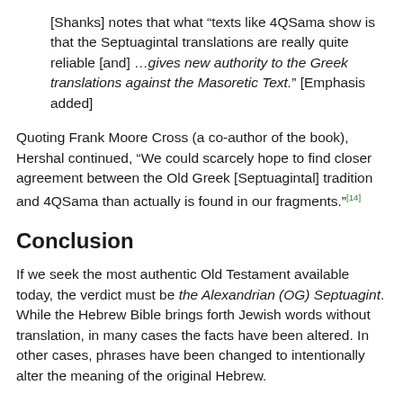[Shanks] notes that what “texts like 4QSama show is that the Septuagintal translations are really quite reliable [and] …gives new authority to the Greek translations against the Masoretic Text.” [Emphasis added]
Quoting Frank Moore Cross (a co-author of the book), Hershal continued, “We could scarcely hope to find closer agreement between the Old Greek [Septuagintal] tradition and 4QSama than actually is found in our fragments.”[14]
Conclusion
If we seek the most authentic Old Testament available today, the verdict must be the Alexandrian (OG) Septuagint. While the Hebrew Bible brings forth Jewish words without translation, in many cases the facts have been altered. In other cases, phrases have been changed to intentionally alter the meaning of the original Hebrew.